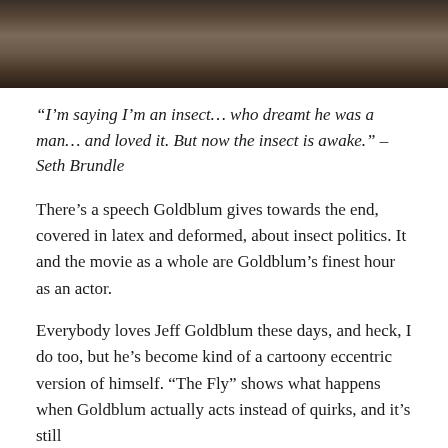[Figure (photo): Top portion of a photo showing a person, cropped at the top of the page]
“I’m saying I’m an insect… who dreamt he was a man… and loved it. But now the insect is awake.” – Seth Brundle
There’s a speech Goldblum gives towards the end, covered in latex and deformed, about insect politics. It and the movie as a whole are Goldblum’s finest hour as an actor.
Everybody loves Jeff Goldblum these days, and heck, I do too, but he’s become kind of a cartoony eccentric version of himself. “The Fly” shows what happens when Goldblum actually acts instead of quirks, and it’s still